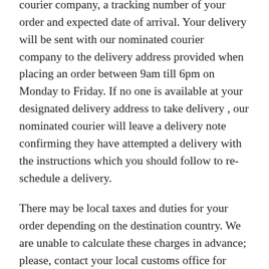courier company, a tracking number of your order and expected date of arrival. Your delivery will be sent with our nominated courier  company to the delivery address provided when placing an order between 9am till 6pm on Monday to Friday. If no one is available at your designated delivery address to take delivery , our nominated courier will leave a delivery note confirming they have attempted a delivery with the instructions which you should follow to re-schedule a delivery.
There may be local taxes and duties for your order depending on the destination country. We are unable to calculate these charges in advance; please, contact your local customs office for more information.  You will require to pay taxes and duty to the courier at delivery.
d.   Quality Control